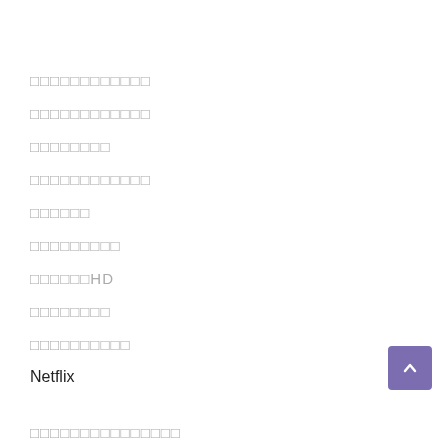□□□□□□□□□□□□
□□□□□□□□□□□□
□□□□□□□□
□□□□□□□□□□□□
□□□□□□
□□□□□□□□□
□□□□□□HD
□□□□□□□□
□□□□□□□□□□
Netflix
□□□□□□□□□□□□□□□